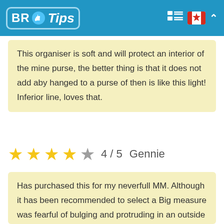BR Tips
This organiser is soft and will protect an interior of the mine purse, the better thing is that it does not add aby hanged to a purse of then is like this light! Inferior line, loves that.
★★★★☆ 4 / 5  Gennie
Has purchased this for my neverfull MM. Although it has been recommended to select a Big measure was fearful of bulging and protruding in an outside of a stock exchange. Also, I like him to them it folds it some sides of a purse in so that it has not